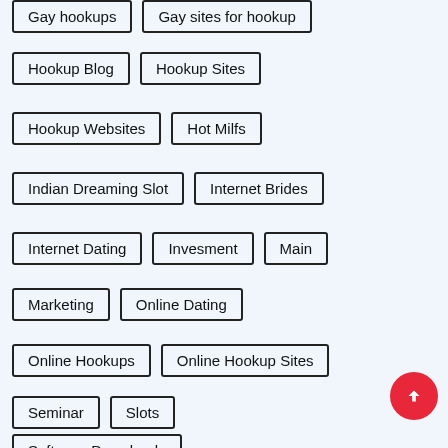Gay hookups
Gay sites for hookup
Hookup Blog
Hookup Sites
Hookup Websites
Hot Milfs
Indian Dreaming Slot
Internet Brides
Internet Dating
Invesment
Main
Marketing
Online Dating
Online Hookups
Online Hookup Sites
Seminar
Slots
Software Downloads
Software Free Download
Strategies
Sugar Baby Sites
Uncategorized